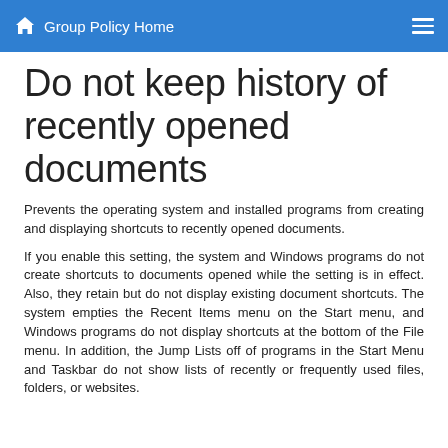Group Policy Home
Do not keep history of recently opened documents
Prevents the operating system and installed programs from creating and displaying shortcuts to recently opened documents.
If you enable this setting, the system and Windows programs do not create shortcuts to documents opened while the setting is in effect. Also, they retain but do not display existing document shortcuts. The system empties the Recent Items menu on the Start menu, and Windows programs do not display shortcuts at the bottom of the File menu. In addition, the Jump Lists off of programs in the Start Menu and Taskbar do not show lists of recently or frequently used files, folders, or websites.